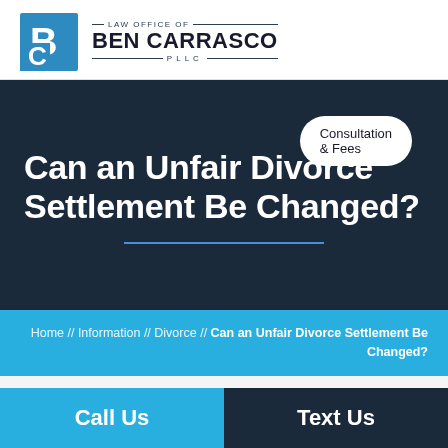[Figure (logo): Law Office of Ben Carrasco PLLC logo with blue geometric BC monogram icon]
Can an Unfair Divorce Settlement Be Changed?
Consultation & Fees
Home // Information // Divorce // Can an Unfair Divorce Settlement Be Changed?
Call Us
Text Us